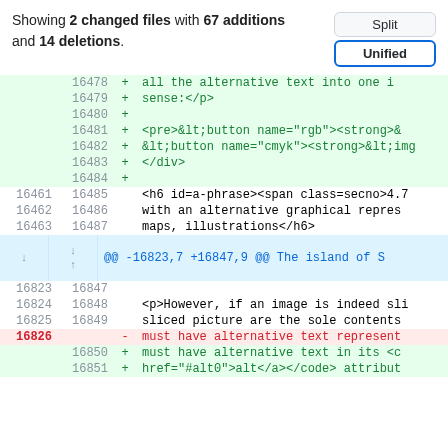Showing 2 changed files with 67 additions and 14 deletions.
| old | new | sign | code |
| --- | --- | --- | --- |
|  | 16478 | + | all the alternative text into one i |
|  | 16479 | + | sense:</p> |
|  | 16480 | + |  |
|  | 16481 | + | <pre>&lt;button name="rgb"><strong>& |
|  | 16482 | + | &lt;button name="cmyk"><strong>&lt;img |
|  | 16483 | + |   </div> |
|  | 16484 | + |  |
| 16461 | 16485 |  | <h6 id=a-phrase><span class=secno>4.7 |
| 16462 | 16486 |  | with an alternative graphical repres |
| 16463 | 16487 |  | maps, illustrations</h6> |
|  |  |  | @@ -16823,7 +16847,9 @@ The island of S |
| 16823 | 16847 |  |  |
| 16824 | 16848 |  | <p>However, if an image is indeed sli |
| 16825 | 16849 |  | sliced picture are the sole contents |
| 16826 |  | - | must have alternative text represent |
|  | 16850 | + | must have alternative text in its <c |
|  | 16851 | + | href="#alt0">alt</a></code> attribut |